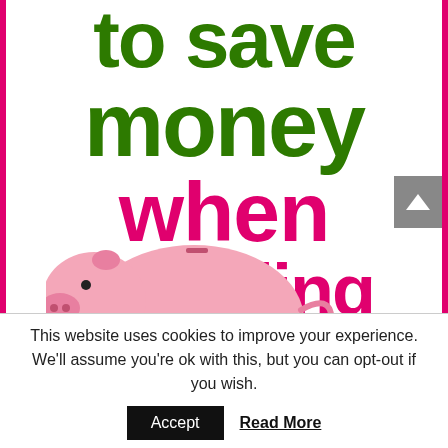[Figure (illustration): Book cover image showing large bold text 'to save money when travelling' in green and pink/magenta colors on a white background with pink border, and a pink piggy bank with gold coins at the bottom. A grey scroll-to-top button with an upward arrow appears on the right side.]
This website uses cookies to improve your experience. We'll assume you're ok with this, but you can opt-out if you wish.
Accept   Read More